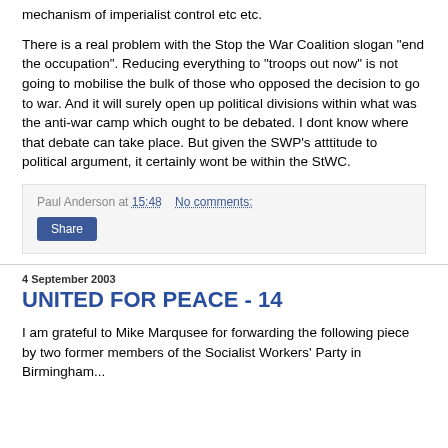mechanism of imperialist control etc etc.
There is a real problem with the Stop the War Coalition slogan "end the occupation". Reducing everything to "troops out now" is not going to mobilise the bulk of those who opposed the decision to go to war. And it will surely open up political divisions within what was the anti-war camp which ought to be debated. I dont know where that debate can take place. But given the SWP's atttitude to political argument, it certainly wont be within the StWC.
Paul Anderson at 15:48   No comments:
Share
4 September 2003
UNITED FOR PEACE - 14
I am grateful to Mike Marqusee for forwarding the following piece by two former members of the Socialist Workers' Party in Birmingham...